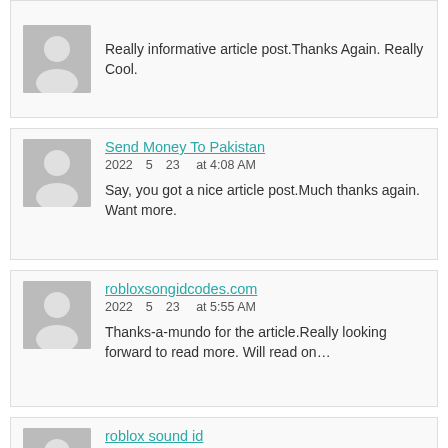Really informative article post.Thanks Again. Really Cool.
Send Money To Pakistan
2022523 at 4:08 AM
Say, you got a nice article post.Much thanks again. Want more.
robloxsongidcodes.com
2022523 at 5:55 AM
Thanks-a-mundo for the article.Really looking forward to read more. Will read on…
roblox sound id
2022523 at 7:21 AM
I am so grateful for your blog post.Thanks Again. Keep writing.